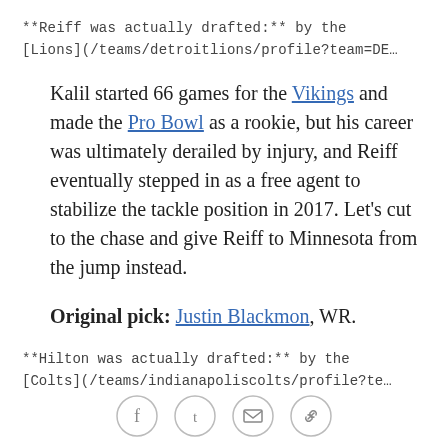**Reiff was actually drafted:** by the [Lions](/teams/detroitlions/profile?team=DE…
Kalil started 66 games for the Vikings and made the Pro Bowl as a rookie, but his career was ultimately derailed by injury, and Reiff eventually stepped in as a free agent to stabilize the tackle position in 2017. Let's cut to the chase and give Reiff to Minnesota from the jump instead.
Original pick: Justin Blackmon, WR.
**Hilton was actually drafted:** by the [Colts](/teams/indianapoliscolts/profile?te…